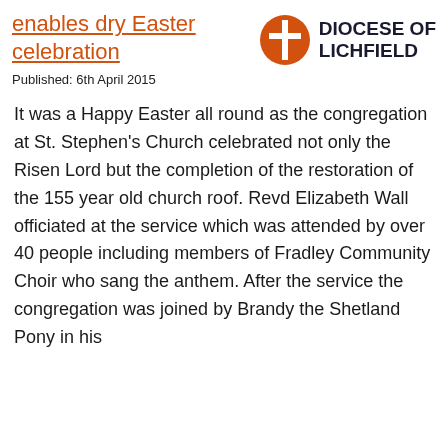enables dry Easter celebration
[Figure (logo): Diocese of Lichfield logo: orange circle with cross, bold text 'DIOCESE OF LICHFIELD']
Published: 6th April 2015
It was a Happy Easter all round as the congregation at St. Stephen's Church celebrated not only the Risen Lord but the completion of the restoration of the 155 year old church roof. Revd Elizabeth Wall officiated at the service which was attended by over 40 people including members of Fradley Community Choir who sang the anthem. After the service the congregation was joined by Brandy the Shetland Pony in his